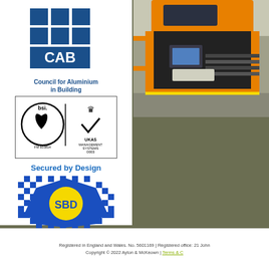[Figure (logo): CAB (Council for Aluminium in Building) logo — blue grid of squares above letters CAB, with text 'Council for Aluminium in Building']
[Figure (logo): BSI and UKAS Management Systems certification logos — FM 603814]
Secured by Design
[Figure (logo): Secured by Design SBD logo — blue and yellow police badge with checkered border, text 'SBD']
Official Police Security Initiative
[Figure (photo): Industrial CNC aluminium machining/processing equipment in workshop — orange and black machine with digital control panel]
Registered in England and Wales. No. 5601169 | Registered office: 21 John... Copyright © 2022 Ayton & McKeown | Terms & C...